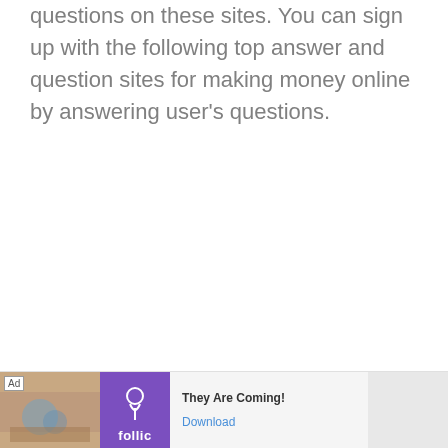questions on these sites. You can sign up with the following top answer and question sites for making money online by answering user's questions.
[Figure (screenshot): Advertisement banner at the bottom of the page. Shows 'Ad' label, an image section with warm tones, a purple Follic logo section, text 'They Are Coming!' with a 'Download' link, and a grey right section.]